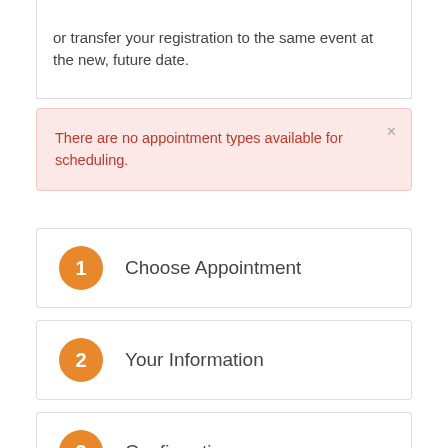or transfer your registration to the same event at the new, future date.
There are no appointment types available for scheduling.
1 Choose Appointment
2 Your Information
3 Confirmation